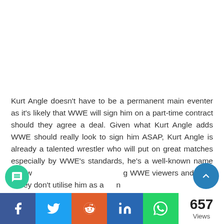[Figure (other): Advertisement / blank white space area at top of page]
Kurt Angle doesn't have to be a permanent main eventer as it's likely that WWE will sign him on a part-time contract should they agree a deal. Given what Kurt Angle adds WWE should really look to sign him ASAP, Kurt Angle is already a talented wrestler who will put on great matches especially by WWE's standards, he's a well-known name that w… g WWE viewers and even if they don't utilise him as a…ain
657 Views | Share buttons: Facebook, Twitter, Reddit, LinkedIn, WhatsApp